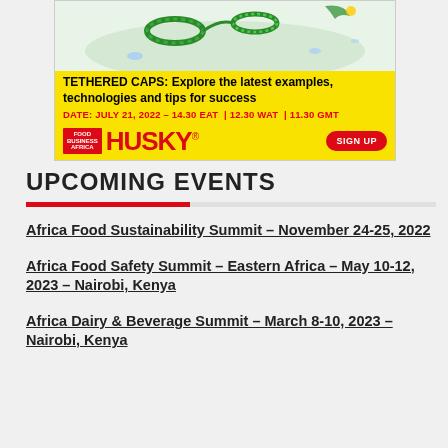[Figure (illustration): Advertisement banner for Husky and Food Business Africa webinar on Tethered Caps. Yellow background with illustration of caps/bottles at top. Headline: TETHERED CAPS: Explore the latest examples, technologies and tips for success. DATE: JULY 21, 2022 – 14.30 EAT | 12.30 WAT | 11.30 GMT. Logos: Food Business Africa and HUSKY. SIGN UP button.]
UPCOMING EVENTS
Africa Food Sustainability Summit – November 24-25, 2022
Africa Food Safety Summit – Eastern Africa – May 10-12, 2023 – Nairobi, Kenya
Africa Dairy & Beverage Summit – March 8-10, 2023 – Nairobi, Kenya